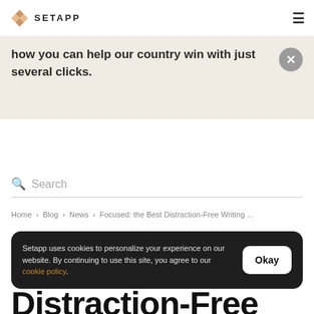SETAPP
how you can help our country win with just several clicks.
Search
Home › Blog › News › Focused: the Best Distraction-Free Writing ...
Setapp uses cookies to personalize your experience on our website. By continuing to use this site, you agree to our cookie policy.
Distraction-Free